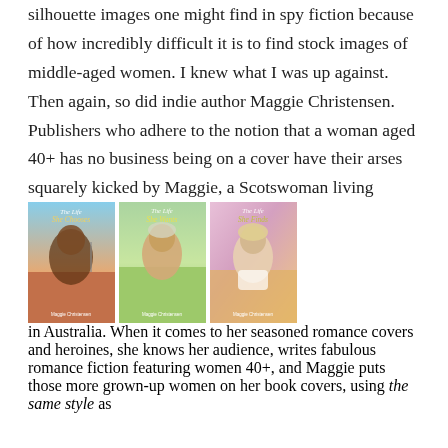silhouette images one might find in spy fiction because of how incredibly difficult it is to find stock images of middle-aged women. I knew what I was up against. Then again, so did indie author Maggie Christensen. Publishers who adhere to the notion that a woman aged 40+ has no business being on a cover have their arses squarely kicked by Maggie, a Scotswoman living in Australia. When it comes to her seasoned romance covers and heroines, she knows her audience, writes fabulous romance fiction featuring women 40+, and Maggie puts those more grown-up women on her book covers, using the same style as
[Figure (photo): Three book covers by Maggie Christensen: 'The Life She Chooses', 'The Life She Wants', and 'The Life She Finds', each featuring a middle-aged woman's portrait.]